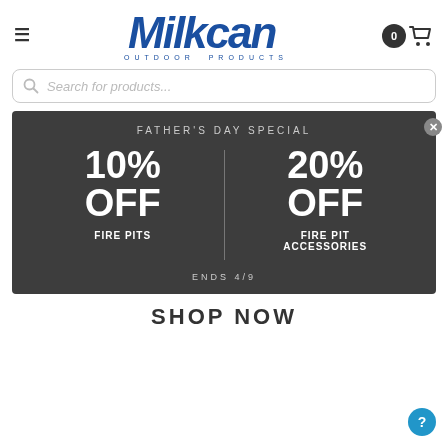[Figure (logo): Milkcan Outdoor Products logo in blue italic bold font with tagline OUTDOOR PRODUCTS]
[Figure (screenshot): Search bar with placeholder text 'Search for products...']
[Figure (infographic): Father's Day Special promotional banner on dark grey background: 10% OFF FIRE PITS | 20% OFF FIRE PIT ACCESSORIES. ENDS 4/9]
SHOP NOW